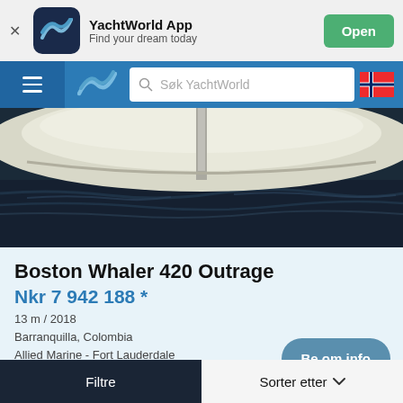[Figure (screenshot): YachtWorld App banner with logo, app name, subtitle 'Find your dream today', and green Open button]
[Figure (screenshot): Navigation bar with hamburger menu, YachtWorld logo, search bar 'Søk YachtWorld', and Norwegian flag]
[Figure (photo): Boat photo showing the hull of a Boston Whaler on dark water]
Boston Whaler 420 Outrage
Nkr 7 942 188 *
13 m / 2018
Barranquilla, Colombia
Allied Marine - Fort Lauderdale
[Figure (logo): Allied Marine 1945 logo]
Be om info
Filtre
Sorter etter